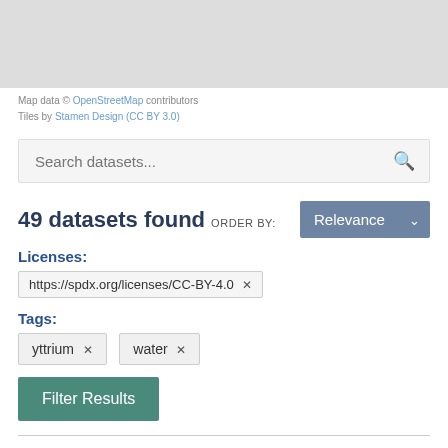[Figure (other): Grey map background area]
Map data © OpenStreetMap contributors
Tiles by Stamen Design (CC BY 3.0)
Search datasets...
49 datasets found  ORDER BY:  Relevance
Licenses:
https://spdx.org/licenses/CC-BY-4.0 ×
Tags:
yttrium ×  water ×
Filter Results